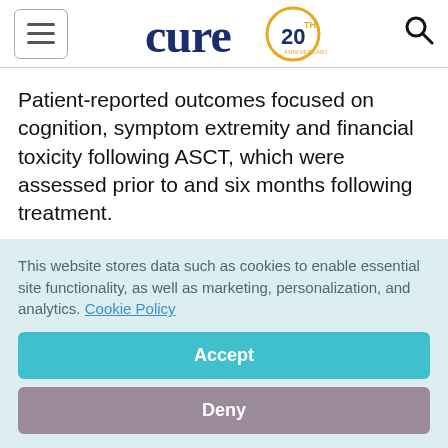cure 20th anniversary logo
Patient-reported outcomes focused on cognition, symptom extremity and financial toxicity following ASCT, which were assessed prior to and six months following treatment.
Overall, 22 patients showed improved symptoms
This website stores data such as cookies to enable essential site functionality, as well as marketing, personalization, and analytics. Cookie Policy
Accept
Deny